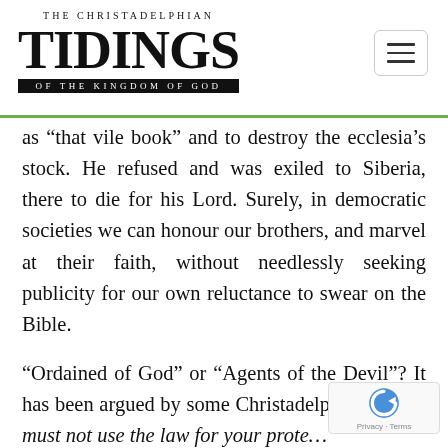THE CHRISTADELPHIAN TIDINGS OF THE KINGDOM OF GOD
as “that vile book” and to destroy the ecclesia’s stock. He refused and was exiled to Siberia, there to die for his Lord. Surely, in democratic societies we can honour our brothers, and marvel at their faith, without needlessly seeking publicity for our own reluctance to swear on the Bible.
“Ordained of God” or “Agents of the Devil”? It has been argued by some Christadelphians: “You must not use the law for your prote… You must not use ‘the arm of flesh’ (the law… land)”, even, it would seem, in case of loss by